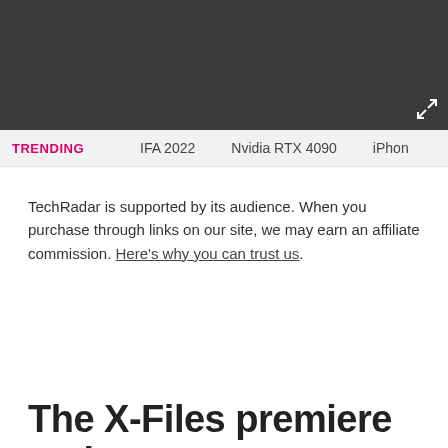TRENDING   IFA 2022   Nvidia RTX 4090   iPhone
TechRadar is supported by its audience. When you purchase through links on our site, we may earn an affiliate commission. Here's why you can trust us.
The X-Files premiere review
By Farrha Khan published January 27, 2016